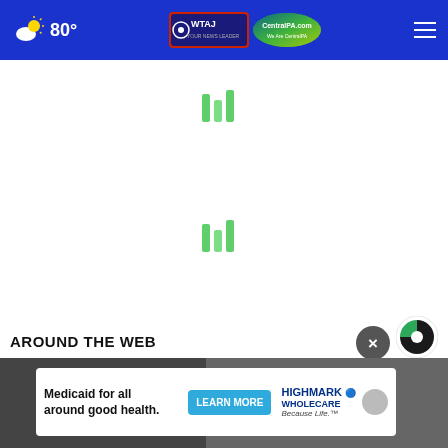80° | WTAJ CentralPA.com
[Figure (infographic): Green loading bar spinner (top), three vertical bars of different heights]
[Figure (infographic): Green loading bar spinner (middle), three vertical bars of different heights]
AROUND THE WEB
[Figure (logo): Taboola logo - circular icon with green and dark sections]
[Figure (infographic): Close/X button circle]
[Figure (screenshot): Bottom content strip with image and Highmark advertisement banner: 'Medicaid for all around good health. LEARN MORE | HIGHMARK WHOLECARE Because Life.']